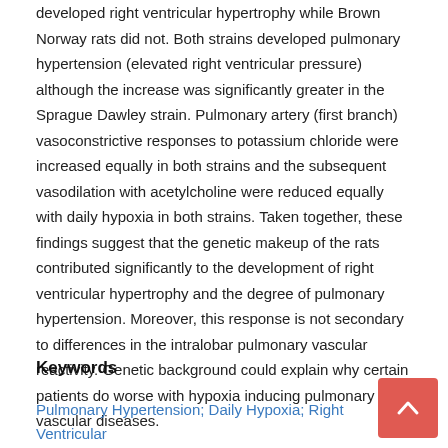developed right ventricular hypertrophy while Brown Norway rats did not. Both strains developed pulmonary hypertension (elevated right ventricular pressure) although the increase was significantly greater in the Sprague Dawley strain. Pulmonary artery (first branch) vasoconstrictive responses to potassium chloride were increased equally in both strains and the subsequent vasodilation with acetylcholine were reduced equally with daily hypoxia in both strains. Taken together, these findings suggest that the genetic makeup of the rats contributed significantly to the development of right ventricular hypertrophy and the degree of pulmonary hypertension. Moreover, this response is not secondary to differences in the intralobar pulmonary vascular reactivity. Genetic background could explain why certain patients do worse with hypoxia inducing pulmonary vascular diseases.
Keywords
Pulmonary Hypertension; Daily Hypoxia; Right Ventricular